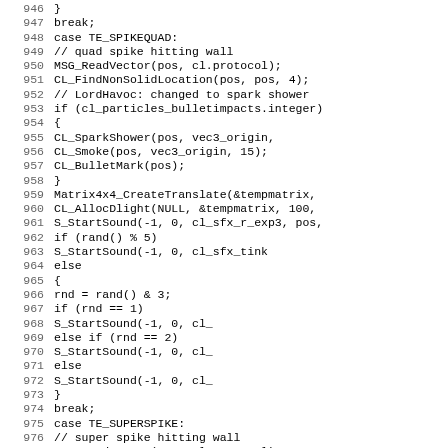[Figure (screenshot): Source code listing showing C code lines 946-978, featuring a switch case for TE_SPIKEQUAD and beginning of TE_SUPERSPIKE, with particle effects, sound, and matrix functions.]